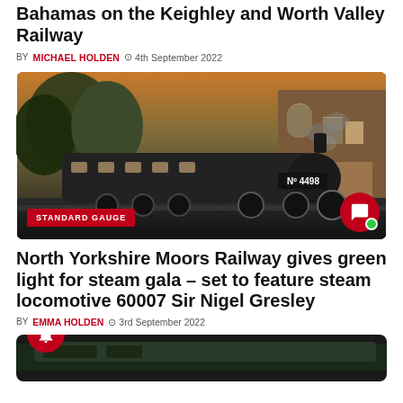Bahamas on the Keighley and Worth Valley Railway
BY MICHAEL HOLDEN  4th September 2022
[Figure (photo): Steam locomotive No. 4498 at a station platform with a brick building in the background. Badge reads STANDARD GAUGE.]
North Yorkshire Moors Railway gives green light for steam gala – set to feature steam locomotive 60007 Sir Nigel Gresley
BY EMMA HOLDEN  3rd September 2022
[Figure (photo): Partial view of a green steam locomotive, bottom of page.]